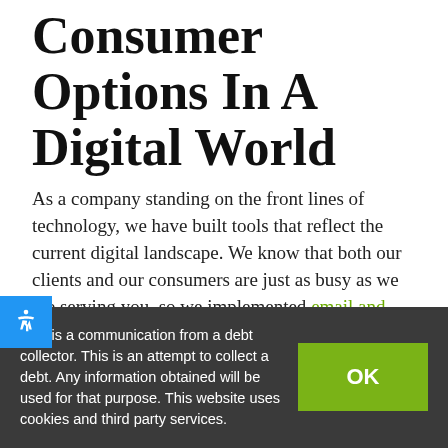Consumer Options In A Digital World
As a company standing on the front lines of technology, we have built tools that reflect the current digital landscape. We know that both our clients and our consumers are just as busy as we are serving you, so we implemented email and text authorization through our website to best meet your needs. This unique feature allows a more seamless interaction for our consumers that need to access
This is a communication from a debt collector. This is an attempt to collect a debt. Any information obtained will be used for that purpose. This website uses cookies and third party services.